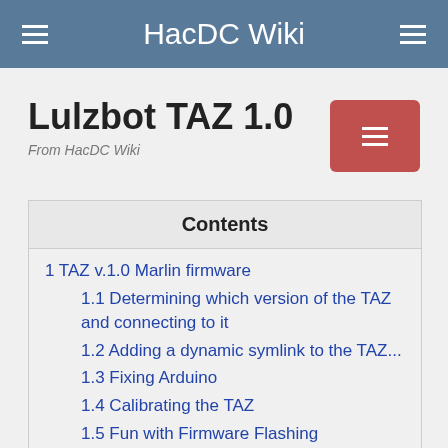HacDC Wiki
Lulzbot TAZ 1.0
From HacDC Wiki
1 TAZ v.1.0 Marlin firmware
1.1 Determining which version of the TAZ and connecting to it
1.2 Adding a dynamic symlink to the TAZ...
1.3 Fixing Arduino
1.4 Calibrating the TAZ
1.5 Fun with Firmware Flashing